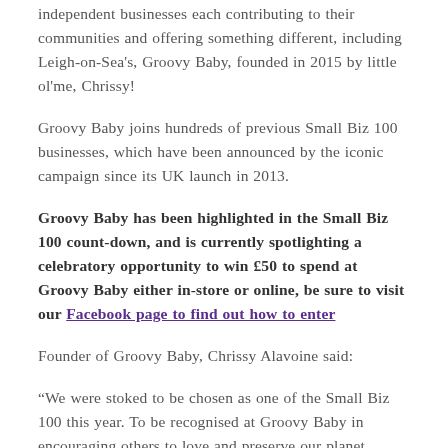independent businesses each contributing to their communities and offering something different, including Leigh-on-Sea's, Groovy Baby, founded in 2015 by little ol'me, Chrissy!
Groovy Baby joins hundreds of previous Small Biz 100 businesses, which have been announced by the iconic campaign since its UK launch in 2013.
Groovy Baby has been highlighted in the Small Biz 100 count-down, and is currently spotlighting a celebratory opportunity to win £50 to spend at Groovy Baby either in-store or online, be sure to visit our Facebook page to find out how to enter
Founder of Groovy Baby, Chrissy Alavoine said:
“We were stoked to be chosen as one of the Small Biz 100 this year. To be recognised at Groovy Baby in encouraging others to love and preserve our planet through their shopping choices. When Groovy Baby